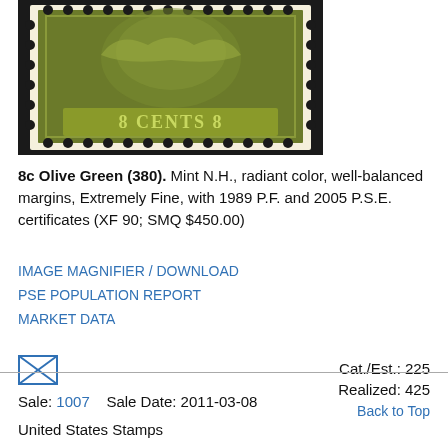[Figure (photo): A green 8 cents US postage stamp showing an eagle or similar design, labeled '8 CENTS 8', olive green color, perforated edges, on dark background]
8c Olive Green (380). Mint N.H., radiant color, well-balanced margins, Extremely Fine, with 1989 P.F. and 2005 P.S.E. certificates (XF 90; SMQ $450.00)
IMAGE MAGNIFIER / DOWNLOAD
PSE POPULATION REPORT
MARKET DATA
[Figure (illustration): Envelope/mail icon (X inside a rectangle)]
Cat./Est.: 225
Realized: 425
Back to Top
Sale: 1007   Sale Date: 2011-03-08
United States Stamps